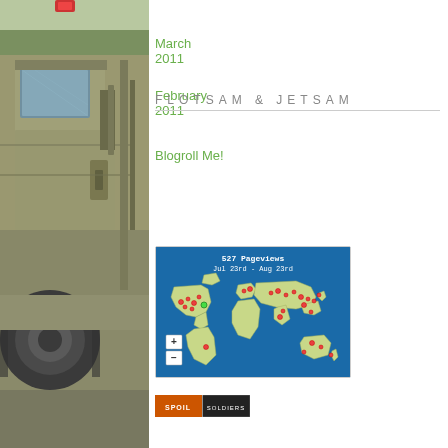[Figure (photo): Military vehicle (HMMWV/Humvee) close-up photograph, tan/olive drab color, taken outdoors]
March 2011
February 2011
FLOTSAM & JETSAM
Blogroll Me!
[Figure (map): World map showing 527 Pageviews Jul 23rd - Aug 23rd with red and green dot markers indicating visitor locations across North America, Europe, Asia, and Australia]
[Figure (logo): Spoil Soldiers badge/logo with orange and white text on dark background]